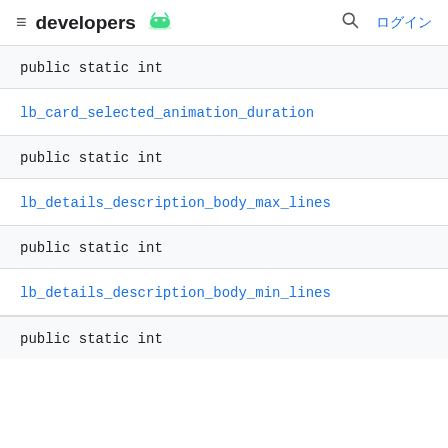developers | ログイン
public static int
lb_card_selected_animation_duration
public static int
lb_details_description_body_max_lines
public static int
lb_details_description_body_min_lines
public static int